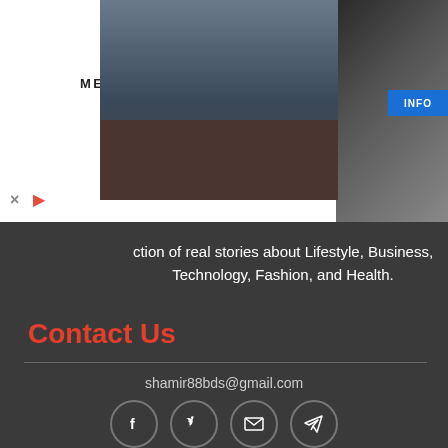[Figure (photo): Men's Wearhouse advertisement banner showing a couple in formal wear and a man in a suit, with INFO button]
ction of real stories about Lifestyle, Business, Technology, Fashion, and Health.
Contact Us
shamir88bds@gmail.com
[Figure (infographic): Social media icons: Facebook, Twitter, Email, Telegram in circular borders]
Popular Categories